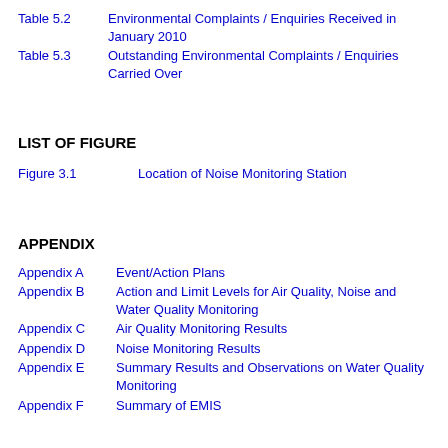Table 5.2    Environmental Complaints / Enquiries Received in January 2010
Table 5.3    Outstanding Environmental Complaints / Enquiries Carried Over
LIST OF FIGURE
Figure 3.1        Location of Noise Monitoring Station
APPENDIX
Appendix A    Event/Action Plans
Appendix B    Action and Limit Levels for Air Quality, Noise and Water Quality Monitoring
Appendix C    Air Quality Monitoring Results
Appendix D    Noise Monitoring Results
Appendix E    Summary Results and Observations on Water Quality Monitoring
Appendix F    Summary of EMIS